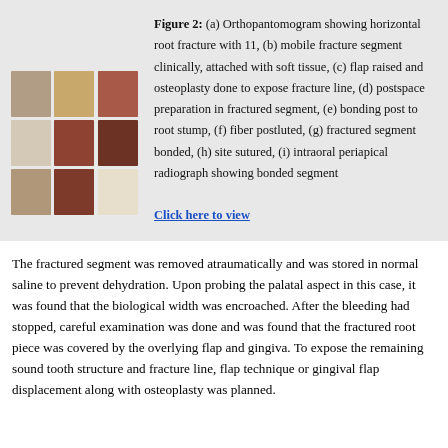[Figure (photo): Grid of clinical dental photographs showing various stages of treatment: orthopantomogram with horizontal root fracture, mobile fracture segment, flap raised with osteoplasty, postspace preparation, bonding post, fiber post luted, fractured segment bonded, site sutured, and intraoral periapical radiograph.]
Figure 2: (a) Orthopantomogram showing horizontal root fracture with 11, (b) mobile fracture segment clinically, attached with soft tissue, (c) flap raised and osteoplasty done to expose fracture line, (d) postspace preparation in fractured segment, (e) bonding post to root stump, (f) fiber postluted, (g) fractured segment bonded, (h) site sutured, (i) intraoral periapical radiograph showing bonded segment
Click here to view
The fractured segment was removed atraumatically and was stored in normal saline to prevent dehydration. Upon probing the palatal aspect in this case, it was found that the biological width was encroached. After the bleeding had stopped, careful examination was done and was found that the fractured root piece was covered by the overlying flap and gingiva. To expose the remaining sound tooth structure and fracture line, flap technique or gingival flap displacement along with osteoplasty was planned.